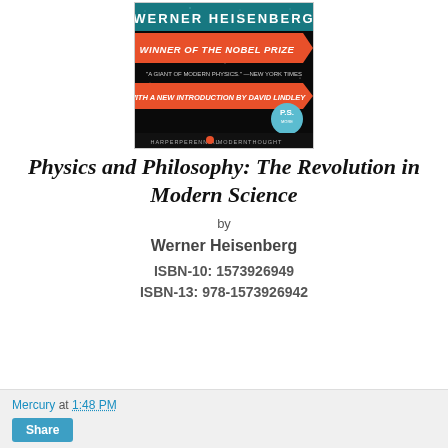[Figure (illustration): Book cover of Physics and Philosophy: The Revolution in Modern Science by Werner Heisenberg. Black starry background with orange/red and teal banner design. Text reads WERNER HEISENBERG, WINNER OF THE NOBEL PRIZE, A GIANT OF MODERN PHYSICS - NEW YORK TIMES, WITH A NEW INTRODUCTION BY DAVID LINDLEY, P.S., HarperPerennial Modern Thought.]
Physics and Philosophy: The Revolution in Modern Science
by
Werner Heisenberg
ISBN-10: 1573926949
ISBN-13: 978-1573926942
Mercury at 1:48 PM
Share